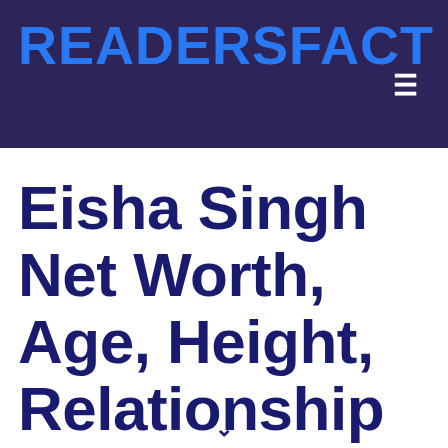READERSFACT
Eisha Singh Net Worth, Age, Height, Relationship